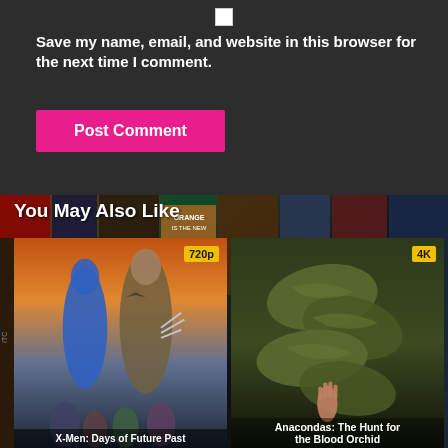Save my name, email, and website in this browser for the next time I comment.
Post Comment
You May Also Like
[Figure (photo): Movie poster for X-Men: Days of Future Past with badge '720p']
[Figure (photo): Movie poster for Anacondas: The Hunt for the Blood Orchid with badge '4K']